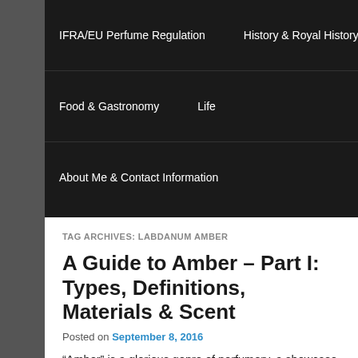IFRA/EU Perfume Regulation | History & Royal History | Food & Gastronomy | Life | About Me & Contact Information
TAG ARCHIVES: LABDANUM AMBER
A Guide to Amber – Part I: Types, Definitions, Materials & Scent
Posted on September 8, 2016
“Amber” is a glorious genre of perfumery, a showcase for all that is decadent, inviting, resinous, and golden in scent, with facets that range across a broad spectrum from the musky, sultry, smoky, and spicy to the deliciously